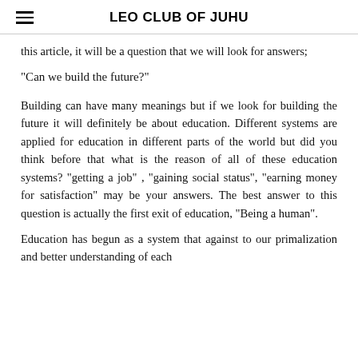LEO CLUB OF JUHU
this article, it will be a question that we will look for answers;
“Can we build the future?”
Building can have many meanings but if we look for building the future it will definitely be about education. Different systems are applied for education in different parts of the world but did you think before that what is the reason of all of these education systems? “getting a job” , “gaining social status”, “earning money for satisfaction” may be your answers. The best answer to this question is actually the first exit of education, “Being a human”.
Education has begun as a system that against to our primalization and better understanding of each